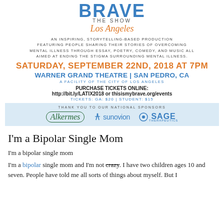BRAVE THE SHOW Los Angeles
AN INSPIRING, STORYTELLING-BASED PRODUCTION FEATURING PEOPLE SHARING THEIR STORIES OF OVERCOMING MENTAL ILLNESS THROUGH ESSAY, POETRY, COMEDY, AND MUSIC ALL AIMED AT ENDING THE STIGMA SURROUNDING MENTAL ILLNESS.
SATURDAY, SEPTEMBER 22ND, 2018 AT 7PM
WARNER GRAND THEATRE | SAN PEDRO, CA
A FACILITY OF THE CITY OF LOS ANGELES
PURCHASE TICKETS ONLINE: http://bit.ly/LATIX2018 or thisismybrave.org/events
TICKETS: GA: $20 | STUDENT: $15
[Figure (logo): Sponsor logos: Alkermes, sunovion, SAGE Therapeutics on light blue background with 'THANK YOU TO OUR NATIONAL SPONSORS']
I'm a Bipolar Single Mom
I'm a bipolar single mom
I'm a bipolar single mom and I'm not crazy. I have two children ages 10 and seven. People have told me all sorts of things about myself. But I